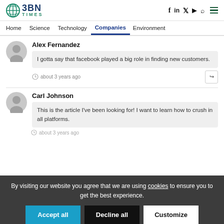BBN Times
Home | Science | Technology | Companies | Environment
Alex Fernandez
I gotta say that facebook played a big role in finding new customers.
about 3 years ago
Carl Johnson
This is the article I've been looking for! I want to learn how to crush in all platforms.
about 3 years ago
By visiting our website you agree that we are using cookies to ensure you to get the best experience.
Accept all | Decline all | Customize